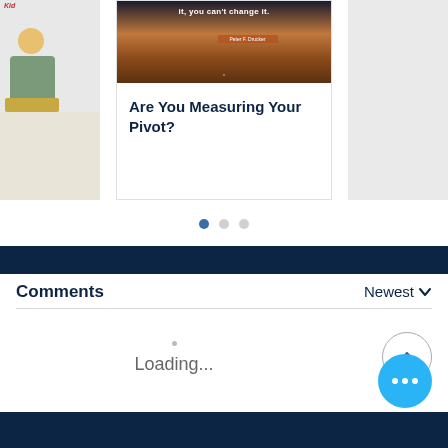[Figure (screenshot): Carousel of blog post cards. Center card shows a sunset/ocean image with title 'Are You Measuring Your Pivot?'. Left card partially visible with illustrated character. Right card partially visible.]
[Figure (infographic): Three pagination dots: first dot active (dark blue), second and third inactive (light gray)]
[Figure (other): Dark navy horizontal bar separator]
Comments
Newest
Loading...
[Figure (other): Scroll-to-top button: circle with chevron/caret pointing up]
[Figure (other): Blue circular button with three white dots (more/menu button)]
[Figure (other): Dark navy footer bar at bottom]